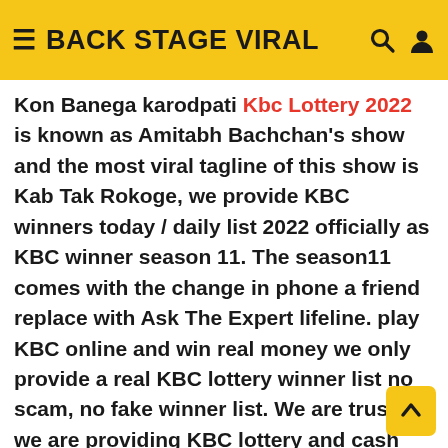≡ BACK STAGE VIRAL 🔍 👤
Kon Banega karodpati Kbc Lottery 2022 is known as Amitabh Bachchan's show and the most viral tagline of this show is Kab Tak Rokoge, we provide KBC winners today / daily list 2022 officially as KBC winner season 11. The season11 comes with the change in phone a friend replace with Ask The Expert lifeline. play KBC online and win real money we only provide a real KBC lottery winner list no scam, no fake winner list. We are trusted we are providing KBC lottery and cash price amounts since the first day of the KBC lottery program. we provide lottery to more than 20,000 thousand Indian people to date.
Be careful about KBC lottery fraud there are a lot of people making fraud with Indian people from